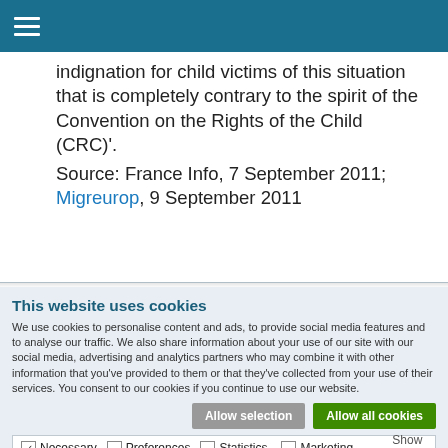☰ (navigation menu)
indignation for child victims of this situation that is completely contrary to the spirit of the Convention on the Rights of the Child (CRC)'.
Source: France Info, 7 September 2011; Migreurop, 9 September 2011
This website uses cookies
We use cookies to personalise content and ads, to provide social media features and to analyse our traffic. We also share information about your use of our site with our social media, advertising and analytics partners who may combine it with other information that you've provided to them or that they've collected from your use of their services. You consent to our cookies if you continue to use our website.